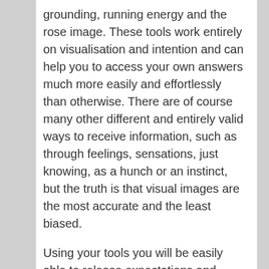grounding, running energy and the rose image. These tools work entirely on visualisation and intention and can help you to access your own answers much more easily and effortlessly than otherwise. There are of course many other different and entirely valid ways to receive information, such as through feelings, sensations, just knowing, as a hunch or an instinct, but the truth is that visual images are the most accurate and the least biased.
Using your tools you will be easily able to release expectations and judgements from your space and receive clear communication from spirit for what it actually is.